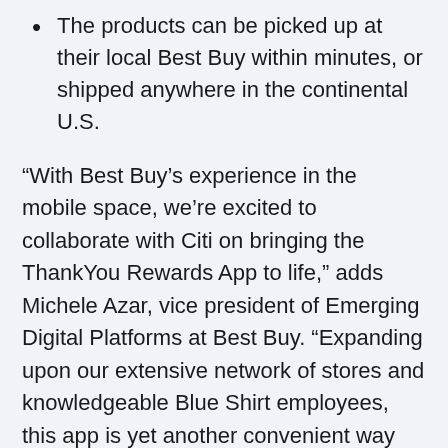The products can be picked up at their local Best Buy within minutes, or shipped anywhere in the continental U.S.
“With Best Buy’s experience in the mobile space, we’re excited to collaborate with Citi on bringing the ThankYou Rewards App to life,” adds Michele Azar, vice president of Emerging Digital Platforms at Best Buy. “Expanding upon our extensive network of stores and knowledgeable Blue Shirt employees, this app is yet another convenient way for our customers to connect with the right technology to fit their lifestyle.”